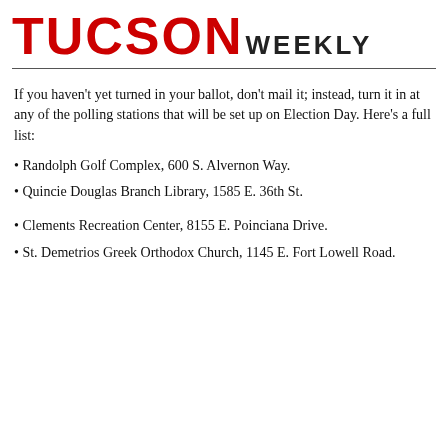TUCSON WEEKLY
If you haven’t yet turned in your ballot, don't mail it; instead, turn it in at any of the polling stations that will be set up on Election Day. Here’s a full list:
Randolph Golf Complex, 600 S. Alvernon Way.
Quincie Douglas Branch Library, 1585 E. 36th St.
Clements Recreation Center, 8155 E. Poinciana Drive.
St. Demetrios Greek Orthodox Church, 1145 E. Fort Lowell Road.